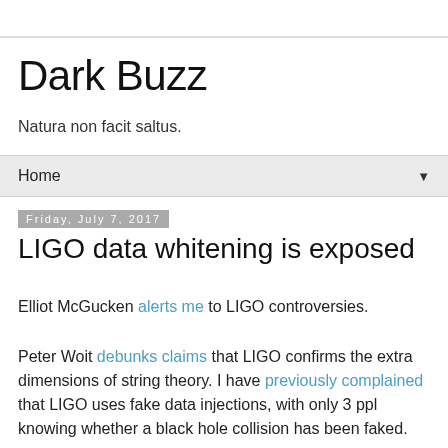Dark Buzz
Natura non facit saltus.
Home
Friday, July 7, 2017
LIGO data whitening is exposed
Elliot McGucken alerts me to LIGO controversies.
Peter Woit debunks claims that LIGO confirms the extra dimensions of string theory. I have previously complained that LIGO uses fake data injections, with only 3 ppl knowing whether a black hole collision has been faked.